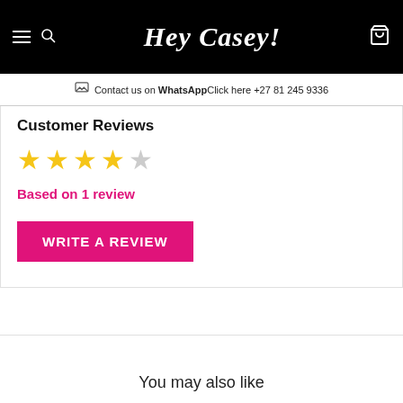Hey Casey!
Contact us on WhatsAppClick here +27 81 245 9336
Customer Reviews
★★★★☆
Based on 1 review
WRITE A REVIEW
You may also like